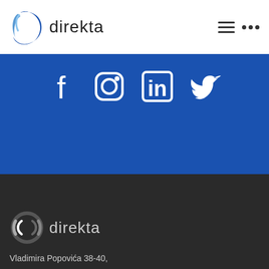[Figure (logo): Direkta logo with blue play-button icon and text 'direkta']
[Figure (infographic): Social media icons: Facebook, Instagram, LinkedIn, Twitter on blue background]
[Figure (logo): Direkta greyscale logo in dark footer]
Vladimira Popovića 38-40,